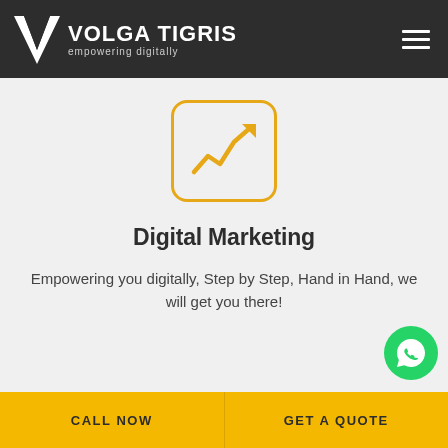VOLGA TIGRIS empowering digitally
[Figure (logo): Volga Tigris logo with V-shaped icon and text 'VOLGA TIGRIS empowering digitally' on dark background, with hamburger menu icon on right]
[Figure (illustration): Yellow rounded square border icon containing an upward trending line chart/graph in yellow/orange color]
Digital Marketing
Empowering you digitally, Step by Step, Hand in Hand, we will get you there!
[Figure (illustration): Green circular WhatsApp icon button in bottom right corner]
CALL NOW | GET A QUOTE